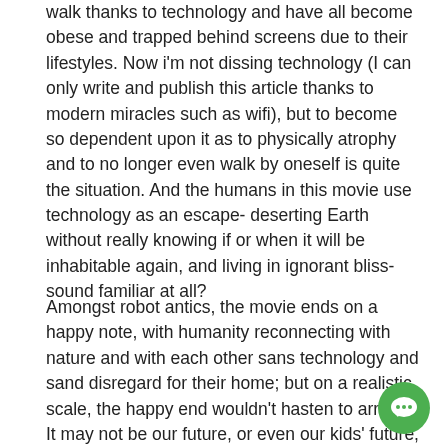walk thanks to technology and have all become obese and trapped behind screens due to their lifestyles. Now i'm not dissing technology (I can only write and publish this article thanks to modern miracles such as wifi), but to become so dependent upon it as to physically atrophy and to no longer even walk by oneself is quite the situation. And the humans in this movie use technology as an escape- deserting Earth without really knowing if or when it will be inhabitable again, and living in ignorant bliss- sound familiar at all?
Amongst robot antics, the movie ends on a happy note, with humanity reconnecting with nature and with each other sans technology and sand disregard for their home; but on a realistic scale, the happy end wouldn't hasten to arrive. It may not be our future, or even our kids' future, but we are headed down a path not dissimilar to that portrayed for humanity in the movie. The sooner we take
[Figure (other): Green circular chat button with speech bubble icon, positioned in bottom-right corner]